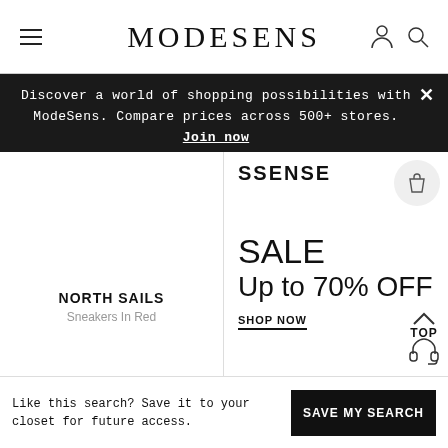MODESENS
Discover a world of shopping possibilities with ModeSens. Compare prices across 500+ stores. Join now
[Figure (screenshot): SSENSE store advertisement showing sale up to 70% off with shopping bag icon]
NORTH SAILS
Sneakers In Red
Like this search? Save it to your closet for future access.
SAVE MY SEARCH